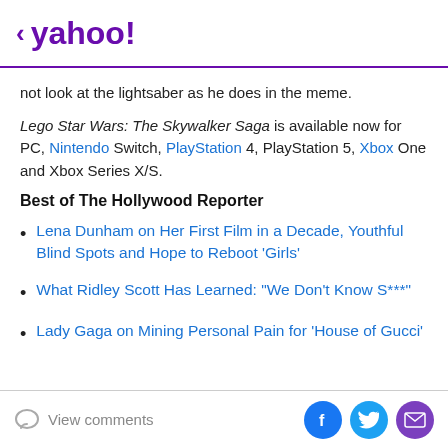< yahoo!
not look at the lightsaber as he does in the meme.
Lego Star Wars: The Skywalker Saga is available now for PC, Nintendo Switch, PlayStation 4, PlayStation 5, Xbox One and Xbox Series X/S.
Best of The Hollywood Reporter
Lena Dunham on Her First Film in a Decade, Youthful Blind Spots and Hope to Reboot 'Girls'
What Ridley Scott Has Learned: "We Don't Know S***"
Lady Gaga on Mining Personal Pain for 'House of Gucci'
View comments